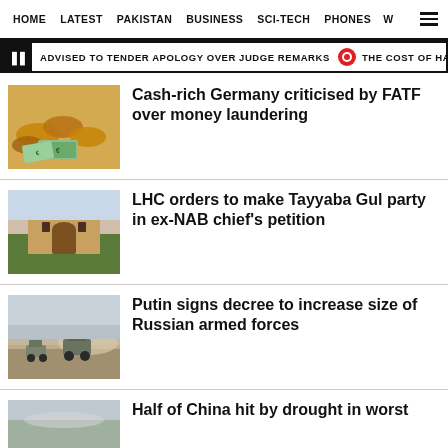HOME  LATEST  PAKISTAN  BUSINESS  SCI-TECH  PHONES  W  ☰
ADVISED TO TENDER APOLOGY OVER JUDGE REMARKS   THE COST OF HARANGU
Cash-rich Germany criticised by FATF over money laundering
[Figure (photo): Photo of croissants with euro banknotes]
LHC orders to make Tayyaba Gul party in ex-NAB chief's petition
[Figure (photo): Photo of Lahore High Court building]
Putin signs decree to increase size of Russian armed forces
[Figure (photo): Photo of Russian military vehicles on dusty road]
Half of China hit by drought in worst